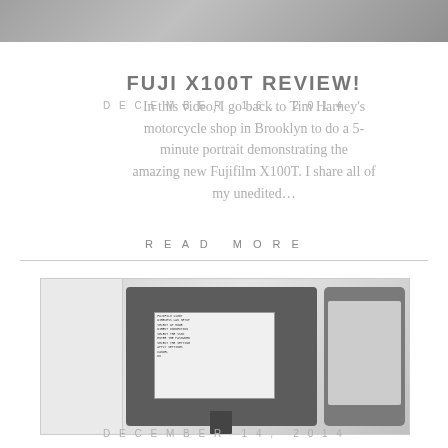[Figure (photo): Partial top image, cropped photo at top of page]
DECEMBER 16, 2014
FUJI X100T REVIEW!
In this video, I go back to Tim Harney’s motorcycle shop in Brooklyn to do a 5-minute portrait demonstrating the amazing new Fujifilm X100T. I share all of my unedited…
READ MORE
[Figure (photo): Photo of a Fujifilm camera on a tripod with its rear LCD screen visible, alongside a smartphone and a white box/device, all on a white surface]
DECEMBER 14, 2014